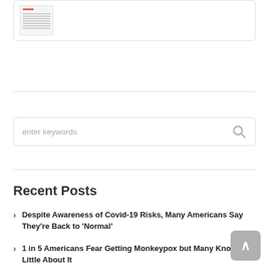[Figure (screenshot): Thumbnail image of a document or article with red header element and grey text lines]
[Figure (screenshot): Search input box with placeholder text 'enter keywords' and a magnifying glass icon on the right]
Recent Posts
Despite Awareness of Covid-19 Risks, Many Americans Say They're Back to 'Normal'
1 in 5 Americans Fear Getting Monkeypox but Many Know Little About It